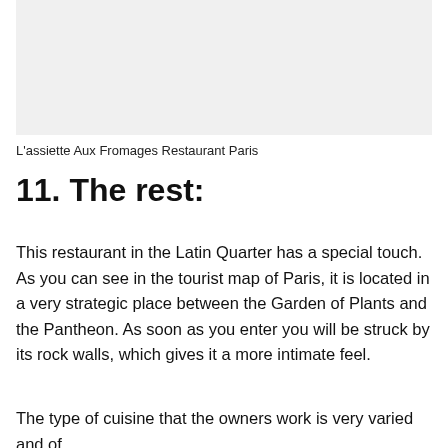[Figure (photo): Photo of L'assiette Aux Fromages Restaurant Paris — light gray placeholder area]
L'assiette Aux Fromages Restaurant Paris
11. The rest:
This restaurant in the Latin Quarter has a special touch. As you can see in the tourist map of Paris, it is located in a very strategic place between the Garden of Plants and the Pantheon. As soon as you enter you will be struck by its rock walls, which gives it a more intimate feel.
The type of cuisine that the owners work is very varied and of quality, mixing traditional cuisine with the most innovative...